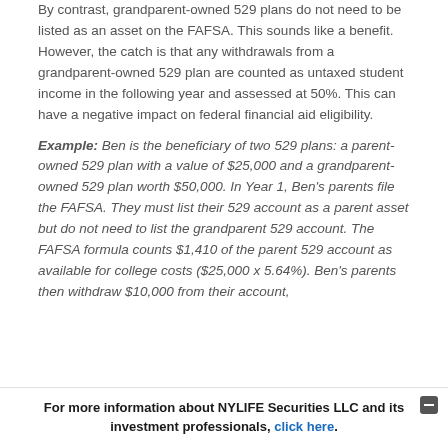By contrast, grandparent-owned 529 plans do not need to be listed as an asset on the FAFSA. This sounds like a benefit. However, the catch is that any withdrawals from a grandparent-owned 529 plan are counted as untaxed student income in the following year and assessed at 50%. This can have a negative impact on federal financial aid eligibility.
Example: Ben is the beneficiary of two 529 plans: a parent-owned 529 plan with a value of $25,000 and a grandparent-owned 529 plan worth $50,000. In Year 1, Ben's parents file the FAFSA. They must list their 529 account as a parent asset but do not need to list the grandparent 529 account. The FAFSA formula counts $1,410 of the parent 529 account as available for college costs ($25,000 x 5.64%). Ben's parents then withdraw $10,000 from their account,
For more information about NYLIFE Securities LLC and its investment professionals, click here.